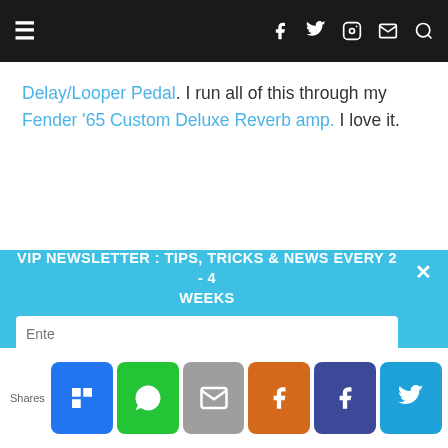≡  [navigation icons: facebook, twitter, instagram, email, search]
Delay/Looper Pedal. I run all of this through my Fender '65 Custom Deluxe Reverb amp. I love it.
VIP NEWSLETTER : TIPS, TRICKS & NEWS EVERY 2 - 4 WEEKS
Shares  Enter... [share buttons: Flipboard, WhatsApp, Email, Facebook, Twitter]